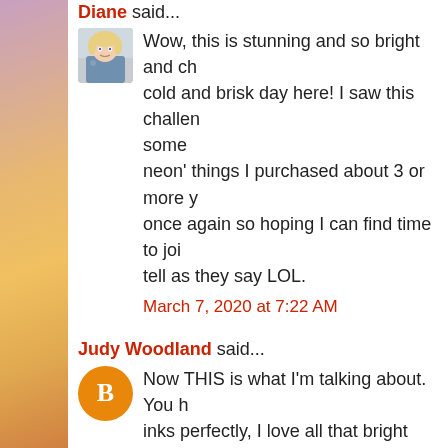Diane said...
[Figure (photo): Avatar photo of Diane, a woman with blonde hair]
Wow, this is stunning and so bright and ch... cold and brisk day here! I saw this challen... some neon' things I purchased about 3 or more y... once again so hoping I can find time to joi... tell as they say LOL.
March 7, 2020 at 7:22 AM
Judy Woodland said...
[Figure (logo): Blogger B logo in orange circle]
Now THIS is what I'm talking about. You h... inks perfectly, I love all that bright goodnes... on the challenge, thank you so much for p... week at the Mod Squad Challenge Judy~ Mod Squad Challenge Designer {Judy's Happy Place} Stop by and com...